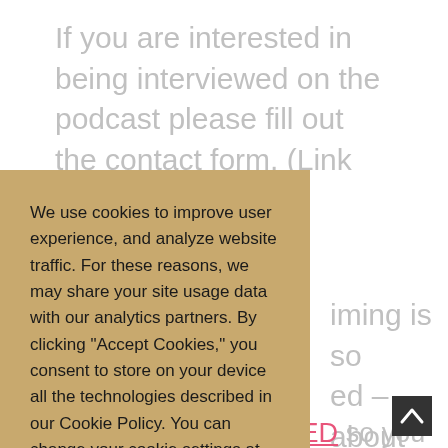If you are interested in being interviewed on the podcast please fill out the contact form. (Link below)
We use cookies to improve user experience, and analyze website traffic. For these reasons, we may share your site usage data with our analytics partners. By clicking “Accept Cookies,” you consent to store on your device all the technologies described in our Cookie Policy. You can change your cookie settings at any time by clicking “Cookie Preferences.”
ACCEPT
iming is so ed – about nd about need to learn f that and take do what I and help so comfort zone Tunes and be sure you are SUBSCRIBED so you don’t miss